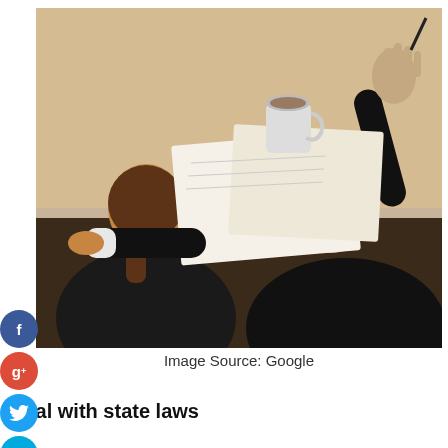[Figure (photo): Overhead view of two people sitting at a wooden table with papers and a coffee cup, one person with grey hair wearing black raising their hand, another person with brown hair in a ponytail wearing black]
Image Source: Google
Deal with state laws